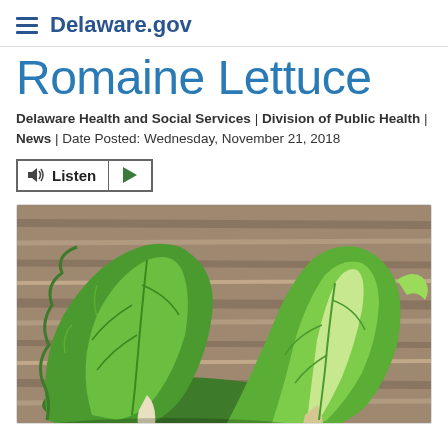Delaware.gov
Romaine Lettuce
Delaware Health and Social Services | Division of Public Health | News | Date Posted: Wednesday, November 21, 2018
[Figure (other): Listen audio button with play control]
[Figure (photo): Two heads of romaine lettuce on a wooden surface]